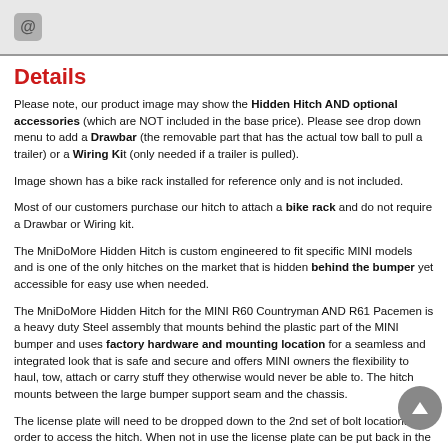[Figure (other): Email/contact icon button on grey background bar]
Details
Please note, our product image may show the Hidden Hitch AND optional accessories (which are NOT included in the base price). Please see drop down menu to add a Drawbar (the removable part that has the actual tow ball to pull a trailer) or a Wiring Kit (only needed if a trailer is pulled).
Image shown has a bike rack installed for reference only and is not included.
Most of our customers purchase our hitch to attach a bike rack and do not require a Drawbar or Wiring kit.
The MniDoMore Hidden Hitch is custom engineered to fit specific MINI models and is one of the only hitches on the market that is hidden behind the bumper yet accessible for easy use when needed.
The MniDoMore Hidden Hitch for the MINI R60 Countryman AND R61 Pacemen is a heavy duty Steel assembly that mounts behind the plastic part of the MINI bumper and uses factory hardware and mounting location for a seamless and integrated look that is safe and secure and offers MINI owners the flexibility to haul, tow, attach or carry stuff they otherwise would never be able to. The hitch mounts between the large bumper support seam and the chassis.
The license plate will need to be dropped down to the 2nd set of bolt locations in order to access the hitch. When not in use the license plate can be put back in the standard location.